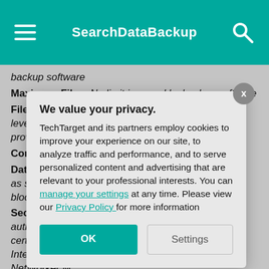SearchDataBackup
backup software
Maximum Files: No limit imposed by backup software
File or Block Backup: Base product provides file-level backup/recovery. SnapImage Module add-on provides blo...
Compression...
Data Reduction... as single-ins... block, etc.
Security Fea... authentication... certificates a... Interface use... NetWorker M... password.
Encryption:
[Figure (screenshot): Privacy consent modal dialog overlay. Title: 'We value your privacy.' Body text: 'TechTarget and its partners employ cookies to improve your experience on our site, to analyze traffic and performance, and to serve personalized content and advertising that are relevant to your professional interests. You can manage your settings at any time. Please view our Privacy Policy for more information'. Buttons: OK (teal), Settings (outlined). Close button (X) top right.]